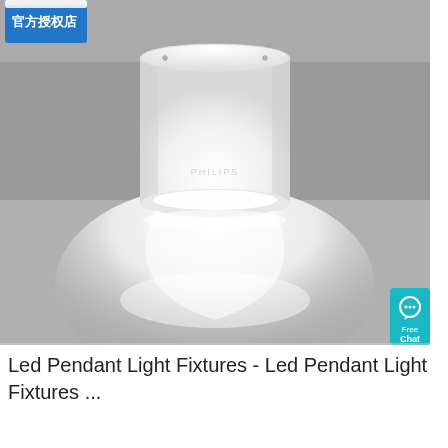[Figure (photo): A white cylindrical Philips LED ceiling light fixture mounted on a gray ceiling, emitting a bright white downward beam of light. In the top-left corner is a blue badge with Chinese text '官方授权店' (official authorized store). In the right side there is a teal/blue chat button with a speech bubble icon and the text 'Free Chat'.]
Led Pendant Light Fixtures - Led Pendant Light Fixtures ...